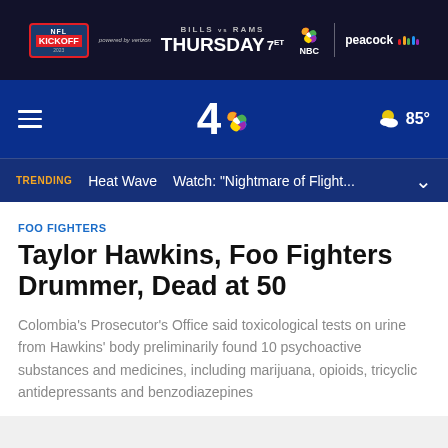[Figure (screenshot): NFL Kickoff 2023 ad banner: Bills vs Rams, Thursday 7ET on NBC / Peacock, powered by Verizon]
[Figure (screenshot): NBC 4 navigation header with hamburger menu, NBC peacock logo with number 4, and weather showing 85 degrees]
[Figure (screenshot): Trending bar showing: TRENDING | Heat Wave | Watch: Nightmare of Flight... with dropdown chevron]
FOO FIGHTERS
Taylor Hawkins, Foo Fighters Drummer, Dead at 50
Colombia's Prosecutor's Office said toxicological tests on urine from Hawkins' body preliminarily found 10 psychoactive substances and medicines, including marijuana, opioids, tricyclic antidepressants and benzodiazepines